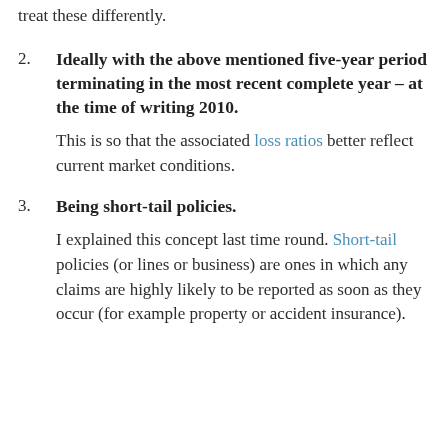treat these differently.
Ideally with the above mentioned five-year period terminating in the most recent complete year – at the time of writing 2010.

This is so that the associated loss ratios better reflect current market conditions.
Being short-tail policies.

I explained this concept last time round. Short-tail policies (or lines or business) are ones in which any claims are highly likely to be reported as soon as they occur (for example property or accident insurance).